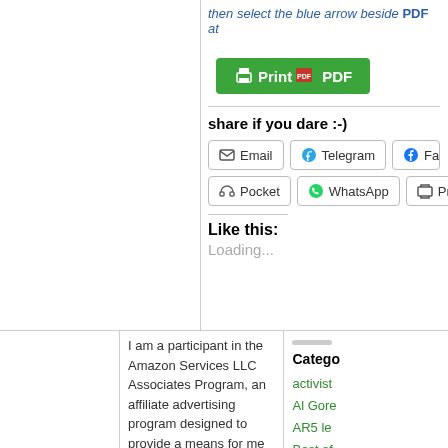then select the blue arrow beside PDF at
[Figure (screenshot): Green Print/PDF button with printer and PDF icons]
share if you dare :-)
Email | Telegram | Facebook
Pocket | WhatsApp | Print
Like this:
Loading...
I am a participant in the Amazon Services LLC Associates Program, an affiliate advertising program designed to provide a means for me to earn fees by linking to Amazon.com and affiliated
Catego
activist
Al Gore
AR5 le
Best of